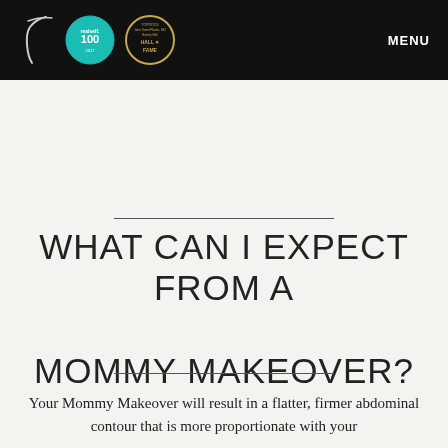[Figure (logo): Website header with black background containing a script letter T logo, realself.100 badge, John Temel plastic surgery Hall of Fame badge, and MENU text on the right]
WHAT CAN I EXPECT FROM A MOMMY MAKEOVER?
Your Mommy Makeover will result in a flatter, firmer abdominal contour that is more proportionate with your